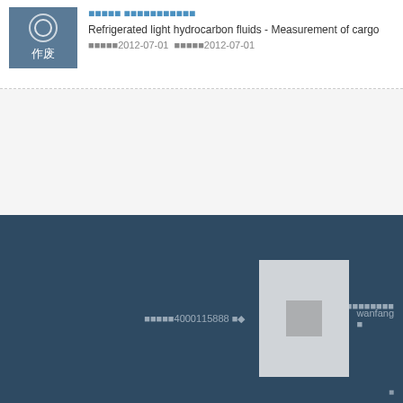[Figure (other): Status badge showing 作废 (obsolete/废) in a blue-grey box with circular icon]
Refrigerated light hydrocarbon fluids - Measurement of cargo
发布日期2012-07-01  实施日期2012-07-01
客服热线4000115888  wanfango